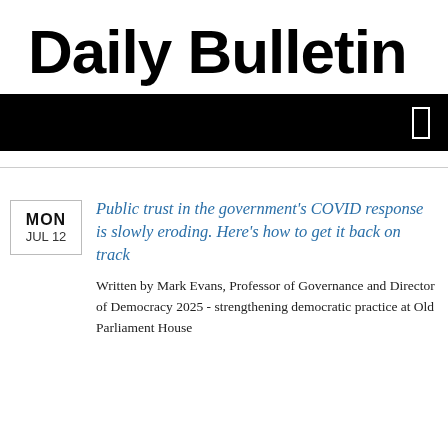Daily Bulletin
[Figure (other): Black navigation/header bar with a white rectangle icon on the right]
Public trust in the government's COVID response is slowly eroding. Here's how to get it back on track
Written by Mark Evans, Professor of Governance and Director of Democracy 2025 - strengthening democratic practice at Old Parliament House